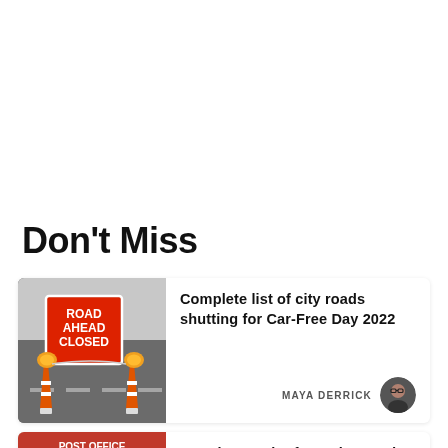Don't Miss
[Figure (photo): Red 'Road Ahead Closed' sign with orange traffic cones on a road]
Complete list of city roads shutting for Car-Free Day 2022
MAYA DERRICK
[Figure (photo): Two people standing outside a post office shop front]
Couple to retire from shop and post office after more than three decades